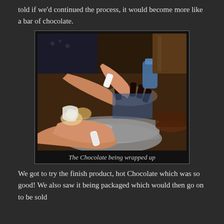told if we'd continued the process, it would become more like a bar of chocolate.
[Figure (photo): Hands wrapping chocolate pieces at a table with bowls and plates of chocolate products]
The Chocolate being wrapped up
We got to try the finish product, hot Chocolate which was so good! We also saw it being packaged which would then go on to be sold